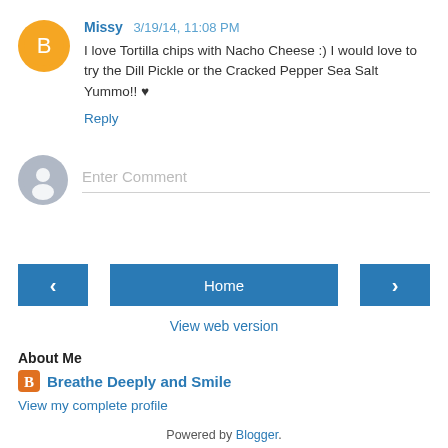Missy 3/19/14, 11:08 PM
I love Tortilla chips with Nacho Cheese :) I would love to try the Dill Pickle or the Cracked Pepper Sea Salt Yummo!! ♥
Reply
[Figure (illustration): Gray avatar icon with person silhouette inside a comment input area]
Enter Comment
‹  Home  ›
View web version
About Me
Breathe Deeply and Smile
View my complete profile
Powered by Blogger.